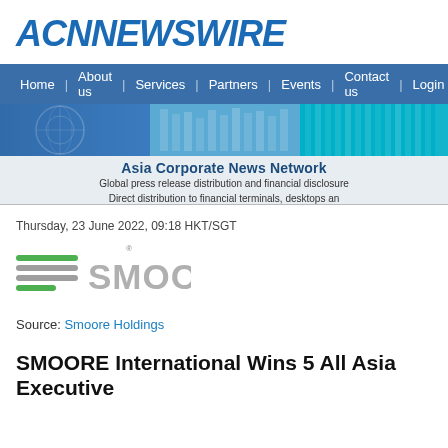ACN NEWSWIRE
Home | About us | Services | Partners | Events | Contact us | Login
[Figure (infographic): ACN Newswire banner with blue world/building imagery and text: Asia Corporate News Network. Global press release distribution and financial disclosure. Direct distribution to financial terminals, desktops and... English, Chinese and Korean press relea...]
Thursday, 23 June 2022, 09:18 HKT/SGT
[Figure (logo): SMOORE logo with green horizontal lines icon and grey SMOORE wordmark]
Source: Smoore Holdings
SMOORE International Wins 5 All Asia Executive...